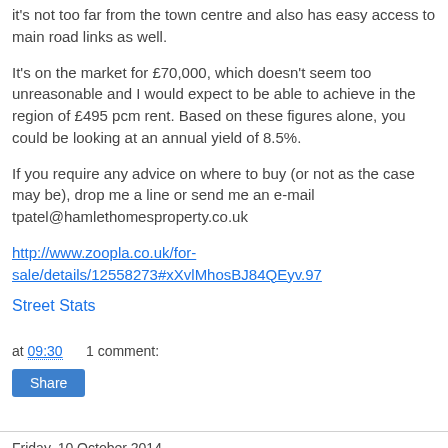it's not too far from the town centre and also has easy access to main road links as well.
It's on the market for £70,000, which doesn't seem too unreasonable and I would expect to be able to achieve in the region of £495 pcm rent. Based on these figures alone, you could be looking at an annual yield of 8.5%.
If you require any advice on where to buy (or not as the case may be), drop me a line or send me an e-mail tpatel@hamlethomesproperty.co.uk
http://www.zoopla.co.uk/for-sale/details/12558273#xXvlMhosBJ84QEyv.97
Street Stats
at 09:30    1 comment:
Share
Friday, 10 October 2014